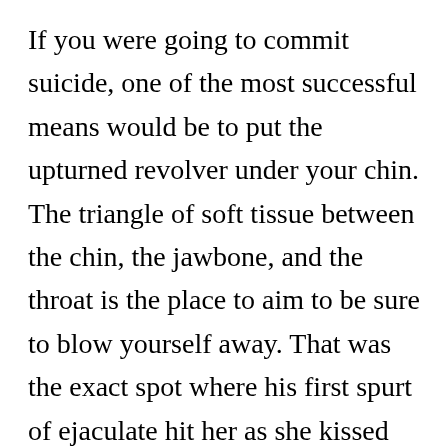If you were going to commit suicide, one of the most successful means would be to put the upturned revolver under your chin. The triangle of soft tissue between the chin, the jawbone, and the throat is the place to aim to be sure to blow yourself away. That was the exact spot where his first spurt of ejaculate hit her as she kissed his mouth. It hit with such velocity and volume that it knocked her back on her heels. Its potency blew her away. After the initial release, streamers of cum erupted from his manhood in successive fashion, arcing high in a direction that did like manner going